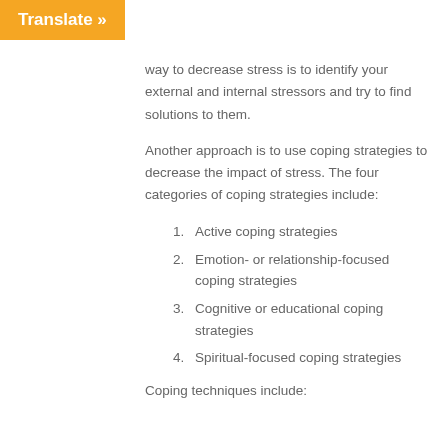Translate »
way to decrease stress is to identify your external and internal stressors and try to find solutions to them.
Another approach is to use coping strategies to decrease the impact of stress. The four categories of coping strategies include:
Active coping strategies
Emotion- or relationship-focused coping strategies
Cognitive or educational coping strategies
Spiritual-focused coping strategies
Coping techniques include: